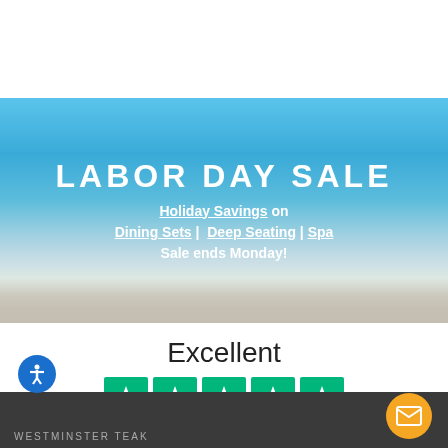[Figure (photo): Beach banner with blue sky and sandy shore background]
LABOR DAY SALE
Holiday Savings on Dining Sets | Deep Seating | Spa Sale ends Monday!
Excellent
[Figure (infographic): Five green Trustpilot star rating boxes]
Based on 1,899 reviews
[Figure (logo): Trustpilot logo with green star]
WESTMINSTER TEAK